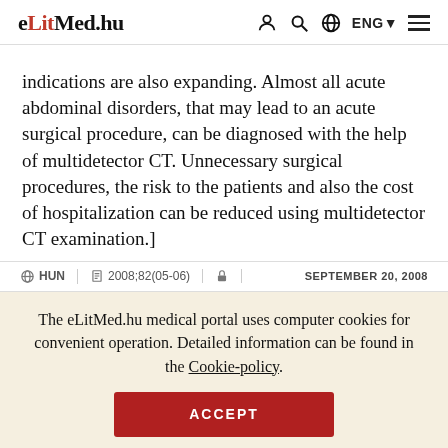eLitMed.hu — ENG navigation header
indications are also expanding. Almost all acute abdominal disorders, that may lead to an acute surgical procedure, can be diagnosed with the help of multidetector CT. Unnecessary surgical procedures, the risk to the patients and also the cost of hospitalization can be reduced using multidetector CT examination.]
HUN | 2008;82(05-06) | SEPTEMBER 20, 2008
The eLitMed.hu medical portal uses computer cookies for convenient operation. Detailed information can be found in the Cookie-policy.
ACCEPT